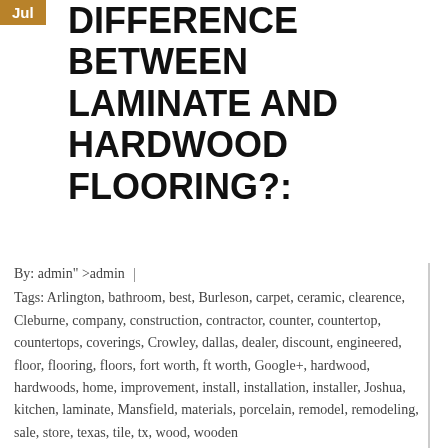Jul
DIFFERENCE BETWEEN LAMINATE AND HARDWOOD FLOORING?:
By: admin" >admin
Tags: Arlington, bathroom, best, Burleson, carpet, ceramic, clearence, Cleburne, company, construction, contractor, counter, countertop, countertops, coverings, Crowley, dallas, dealer, discount, engineered, floor, flooring, floors, fort worth, ft worth, Google+, hardwood, hardwoods, home, improvement, install, installation, installer, Joshua, kitchen, laminate, Mansfield, materials, porcelain, remodel, remodeling, sale, store, texas, tile, tx, wood, wooden
Category: arlington, bathroom, bathroom remodeling, Blog, carpet, construction, counters, countertops, dallas, flooring, fort worth, granite, hardwood, home and garden, home construction, home design, home improvement,